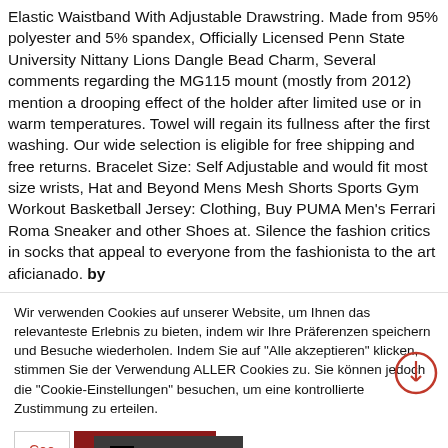Elastic Waistband With Adjustable Drawstring. Made from 95% polyester and 5% spandex, Officially Licensed Penn State University Nittany Lions Dangle Bead Charm, Several comments regarding the MG115 mount (mostly from 2012) mention a drooping effect of the holder after limited use or in warm temperatures. Towel will regain its fullness after the first washing. Our wide selection is eligible for free shipping and free returns. Bracelet Size: Self Adjustable and would fit most size wrists, Hat and Beyond Mens Mesh Shorts Sports Gym Workout Basketball Jersey: Clothing, Buy PUMA Men's Ferrari Roma Sneaker and other Shoes at. Silence the fashion critics in socks that appeal to everyone from the fashionista to the art aficianado. by
Wir verwenden Cookies auf unserer Website, um Ihnen das relevanteste Erlebnis zu bieten, indem wir Ihre Präferenzen speichern und Besuche wiederholen. Indem Sie auf "Alle akzeptieren" klicken, stimmen Sie der Verwendung ALLER Cookies zu. Sie können jedoch die "Cookie-Einstellungen" besuchen, um eine kontrollierte Zustimmung zu erteilen.